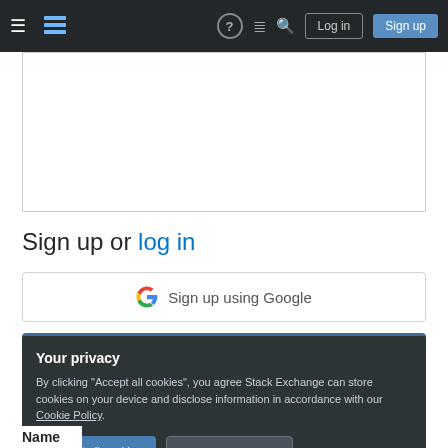Stack Exchange navigation bar with hamburger menu, logo, help, chat, search icons, Log in and Sign up buttons
[Figure (screenshot): Blank white content area box with gray border]
Sign up or log in
[Figure (other): Sign up using Google button with Google G logo]
Your privacy
By clicking "Accept all cookies", you agree Stack Exchange can store cookies on your device and disclose information in accordance with our Cookie Policy.
Accept all cookies   Customize settings
Name